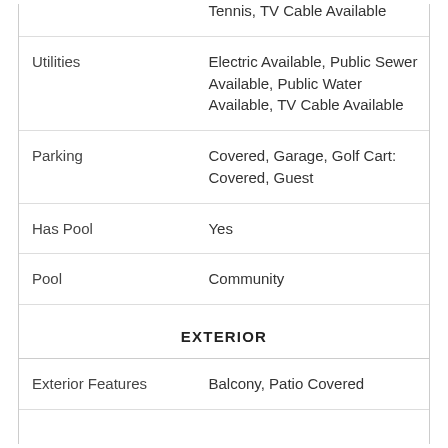| Field | Value |
| --- | --- |
|  | Tennis, TV Cable Available |
| Utilities | Electric Available, Public Sewer Available, Public Water Available, TV Cable Available |
| Parking | Covered, Garage, Golf Cart: Covered, Guest |
| Has Pool | Yes |
| Pool | Community |
EXTERIOR
| Field | Value |
| --- | --- |
| Exterior Features | Balcony, Patio Covered |